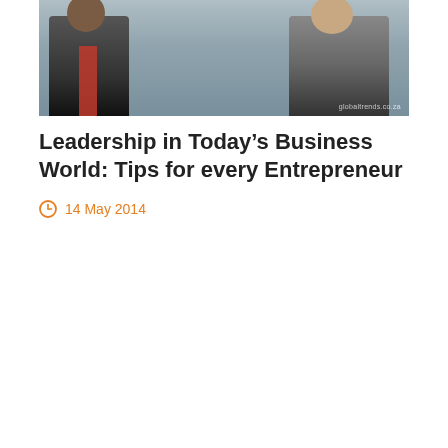[Figure (photo): Two women seated on chairs in what appears to be an office or meeting room setting. One woman on the left wearing dark clothing with a red accent, another on the right in a grey blazer.]
Leadership in Today’s Business World: Tips for every Entrepreneur
14 May 2014